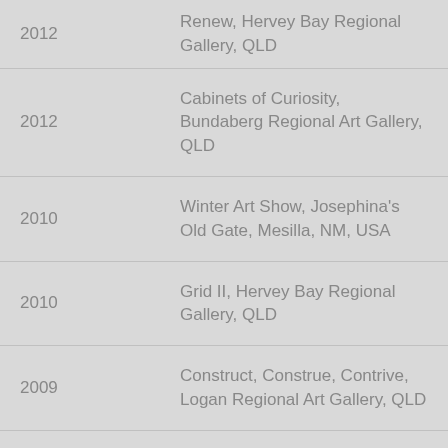| Year | Exhibition |
| --- | --- |
| 2012 | Renew, Hervey Bay Regional Gallery, QLD |
| 2012 | Cabinets of Curiosity, Bundaberg Regional Art Gallery, QLD |
| 2010 | Winter Art Show, Josephina's Old Gate, Mesilla, NM, USA |
| 2010 | Grid II, Hervey Bay Regional Gallery, QLD |
| 2009 | Construct, Construe, Contrive, Logan Regional Art Gallery, QLD |
| 2009 | Marks in Time, Martin Galleries, Brisbane QLD |
| 2009 | Seedbed, Noosa Regional Art Gallery, Tewantin QLD |
| 2008 | Spirit of Mary, Cooloola Public Gallery, Gympie QLD |
| 2008 | Sea, Sand, Water, Wind, Rabea Gallery |